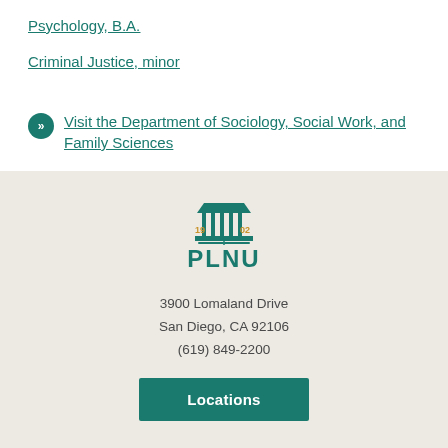Psychology, B.A.
Criminal Justice, minor
Visit the Department of Sociology, Social Work, and Family Sciences
[Figure (logo): PLNU university logo with building icon and years 19 02]
3900 Lomaland Drive
San Diego, CA 92106
(619) 849-2200
Locations
LEARN